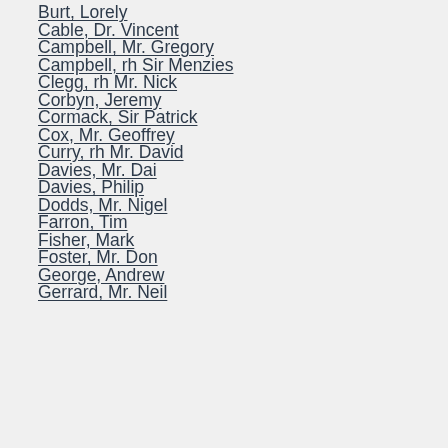Burt, Lorely
Cable, Dr. Vincent
Campbell, Mr. Gregory
Campbell, rh Sir Menzies
Clegg, rh Mr. Nick
Corbyn, Jeremy
Cormack, Sir Patrick
Cox, Mr. Geoffrey
Curry, rh Mr. David
Davies, Mr. Dai
Davies, Philip
Dodds, Mr. Nigel
Farron, Tim
Fisher, Mark
Foster, Mr. Don
George, Andrew
Gerrard, Mr. Neil